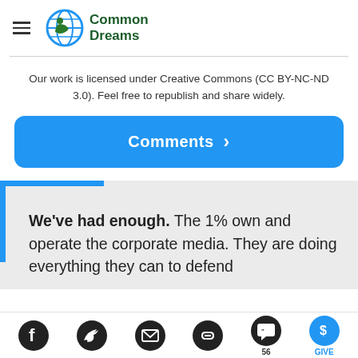Common Dreams
Our work is licensed under Creative Commons (CC BY-NC-ND 3.0). Feel free to republish and share widely.
Comments
We've had enough. The 1% own and operate the corporate media. They are doing everything they can to defend